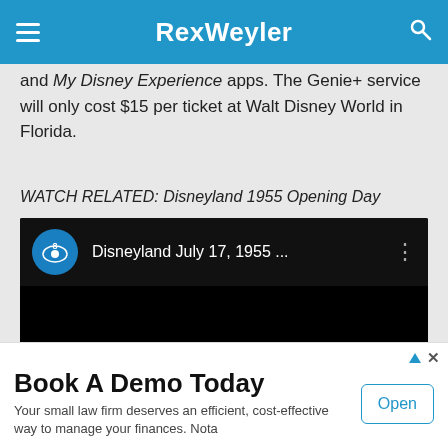RexWeyler
and My Disney Experience apps. The Genie+ service will only cost $15 per ticket at Walt Disney World in Florida.
WATCH RELATED: Disneyland 1955 Opening Day
[Figure (screenshot): Embedded video player showing CBS8 channel logo and title 'Disneyland July 17, 1955 ...' on a black background]
Book A Demo Today
Your small law firm deserves an efficient, cost-effective way to manage your finances. Nota